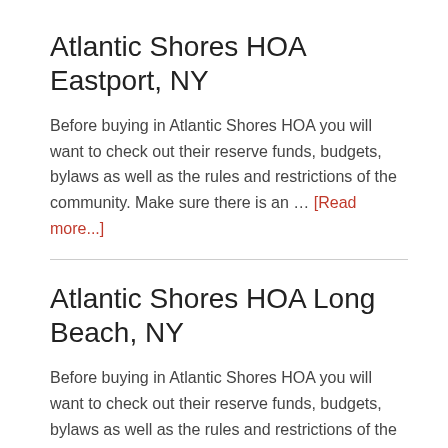Atlantic Shores HOA Eastport, NY
Before buying in Atlantic Shores HOA you will want to check out their reserve funds, budgets, bylaws as well as the rules and restrictions of the community. Make sure there is an … [Read more...]
Atlantic Shores HOA Long Beach, NY
Before buying in Atlantic Shores HOA you will want to check out their reserve funds, budgets, bylaws as well as the rules and restrictions of the community. Make sure there is an … [Read more...]